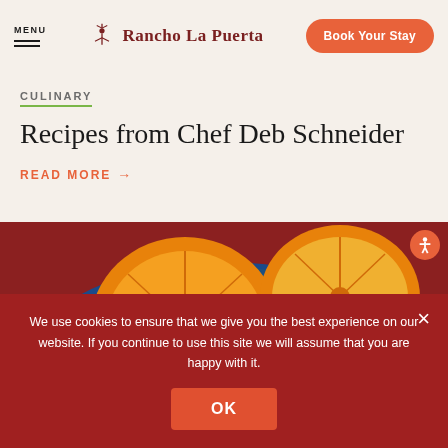MENU | Rancho La Puerta | Book Your Stay
CULINARY
Recipes from Chef Deb Schneider
Read More →
[Figure (photo): Sliced oranges and citrus fruits on a decorative blue and gold plate with cinnamon sticks and a small bowl of garnish, on a red textured surface]
We use cookies to ensure that we give you the best experience on our website. If you continue to use this site we will assume that you are happy with it.
OK